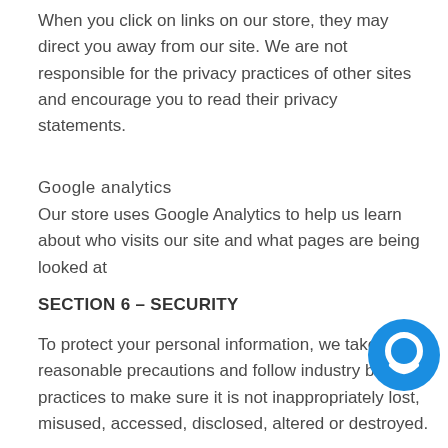When you click on links on our store, they may direct you away from our site. We are not responsible for the privacy practices of other sites and encourage you to read their privacy statements.
Google analytics
Our store uses Google Analytics to help us learn about who visits our site and what pages are being looked at
SECTION 6 – SECURITY
To protect your personal information, we take reasonable precautions and follow industry best practices to make sure it is not inappropriately lost, misused, accessed, disclosed, altered or destroyed.
If you...